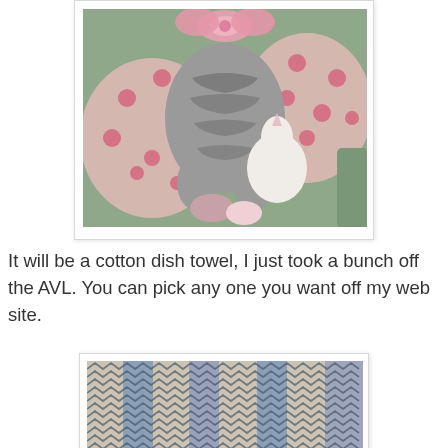[Figure (photo): A cat lying on a teal/green couch surrounded by pink polka-dot pillows, holding a small white stuffed animal unicorn toy. The cat appears to be a tabby with gray markings.]
It will be a cotton dish towel, I just took a bunch off the AVL. You can pick any one you want off my web site.
[Figure (photo): Close-up of a woven cotton dish towel showing a herringbone or chevron weave pattern in blue and beige/cream colors with vertical stripes.]